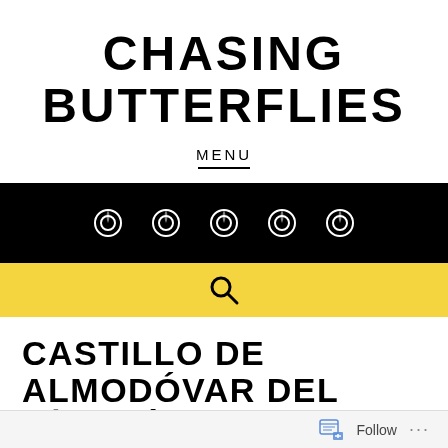CHASING BUTTERFLIES
MENU
[Figure (infographic): Black horizontal bar with five circular camera/lens icons in white, evenly spaced]
[Figure (infographic): Yellow horizontal bar with a search/magnifying glass icon in the center]
CASTILLO DE ALMODÓVAR DEL RÍO- CÓRDOBA.
Follow ...